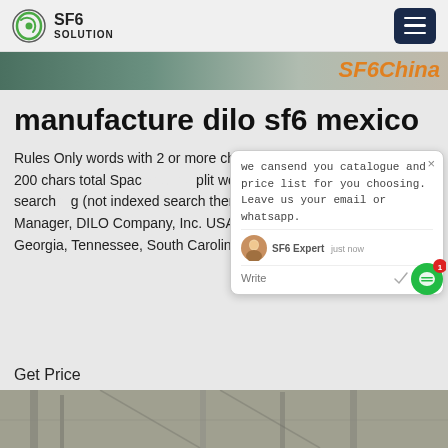SF6 SOLUTION
[Figure (screenshot): SF6China banner strip with orange italic text]
manufacture dilo sf6 mexico
Rules Only words with 2 or more ch... accepted Max 200 chars total Spac... plit words, "" can be used to search... g (not indexed search then) Robert Ca... Regional Sales Manager, DILO Company, Inc. USA: Texas, Mississippi, Alabama, Georgia, Tennessee, South Carolina, North Carolina
Get Price
[Figure (screenshot): Chat popup showing: we cansend you catalogue and price list for you choosing. Leave us your email or whatsapp. SF6 Expert just now. Write.]
[Figure (photo): Industrial machinery/electrical tower at bottom of page]